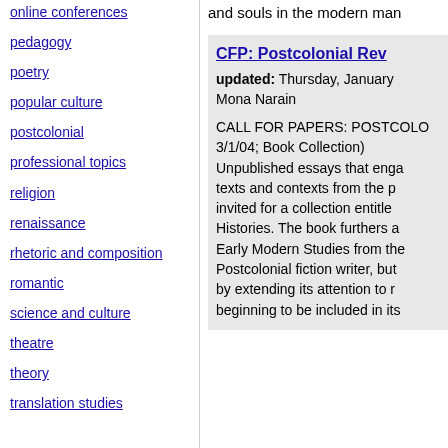online conferences
pedagogy
poetry
popular culture
postcolonial
professional topics
religion
renaissance
rhetoric and composition
romantic
science and culture
theatre
theory
translation studies
and souls in the modern man
CFP: Postcolonial Rev
updated: Thursday, January
Mona Narain
CALL FOR PAPERS: POSTCOLO
3/1/04; Book Collection)
Unpublished essays that enga
texts and contexts from the p
invited for a collection entitle
Histories. The book furthers a
Early Modern Studies from the
Postcolonial fiction writer, but
by extending its attention to r
beginning to be included in its